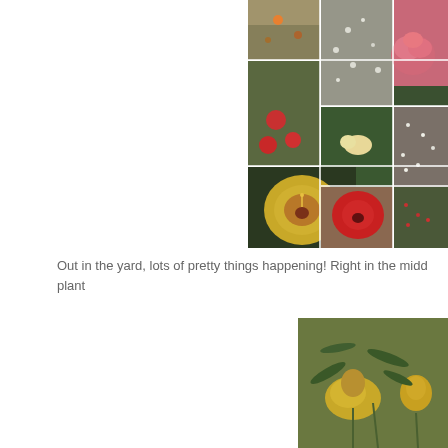[Figure (photo): A collage of 8 garden/flower photos arranged in a grid: orange flowers on a bush, white flowering shrub, pink rose closeup, red hibiscus shrubs, cream/yellow flower, white flowers in garden, large yellow hibiscus closeup, large red hibiscus, and garden shrub scene.]
Out in the yard, lots of pretty things happening! Right in the midd plant
[Figure (photo): Close-up photo of yellow flower buds and blooms with green stems and leaves.]